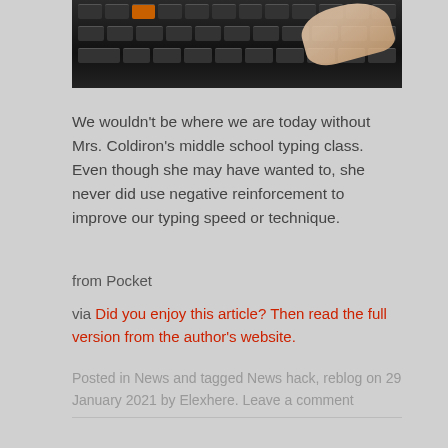[Figure (photo): Close-up photo of hands typing on a dark keyboard, partially visible at the top of the page.]
We wouldn't be where we are today without Mrs. Coldiron's middle school typing class. Even though she may have wanted to, she never did use negative reinforcement to improve our typing speed or technique.
from Pocket
via Did you enjoy this article? Then read the full version from the author's website.
Posted in News and tagged News hack, reblog on 29 January 2021 by Elexhere. Leave a comment